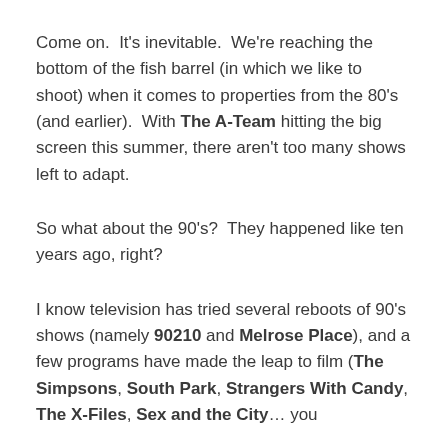Come on.  It's inevitable.  We're reaching the bottom of the fish barrel (in which we like to shoot) when it comes to properties from the 80's (and earlier).  With The A-Team hitting the big screen this summer, there aren't too many shows left to adapt.
So what about the 90's?  They happened like ten years ago, right?
I know television has tried several reboots of 90's shows (namely 90210 and Melrose Place), and a few programs have made the leap to film (The Simpsons, South Park, Strangers With Candy, The X-Files, Sex and the City... you